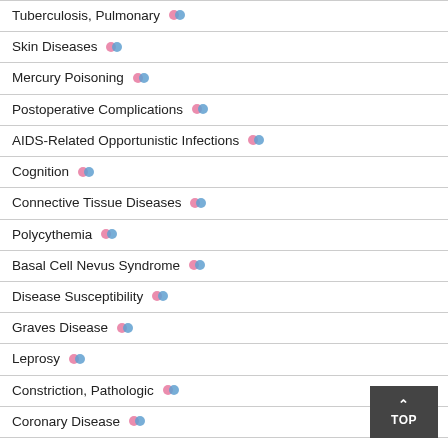Tuberculosis, Pulmonary
Skin Diseases
Mercury Poisoning
Postoperative Complications
AIDS-Related Opportunistic Infections
Cognition
Connective Tissue Diseases
Polycythemia
Basal Cell Nevus Syndrome
Disease Susceptibility
Graves Disease
Leprosy
Constriction, Pathologic
Coronary Disease
Exanthema
Glaucoma, Open-Angle
Hematologic Neoplasms